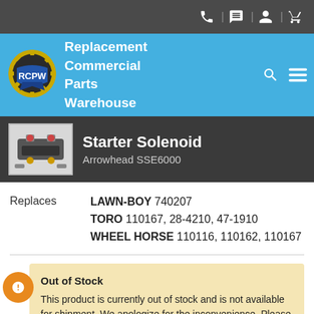RCPW - Replacement Commercial Parts Warehouse
Starter Solenoid
Arrowhead SSE6000
Replaces LAWN-BOY 740207 TORO 110167, 28-4210, 47-1910 WHEEL HORSE 110116, 110162, 110167
Out of Stock
This product is currently out of stock and is not available for shipment. We apologize for the inconvenience. Please contact us at orders@rcpw.com to find out when this product may become available again.